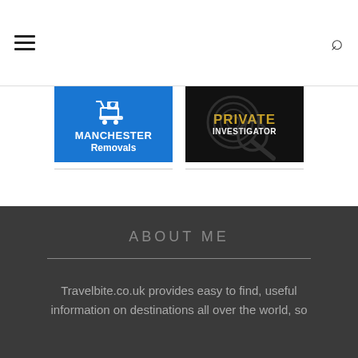≡   🔍
[Figure (logo): Manchester Removals logo - blue background with trolley/cart icon and white bold text MANCHESTER Removals]
[Figure (logo): Private Investigator logo - dark background with fingerprint and magnifying glass graphic, gold text PRIVATE and white text INVESTIGATOR]
ABOUT ME
Travelbite.co.uk provides easy to find, useful information on destinations all over the world, so